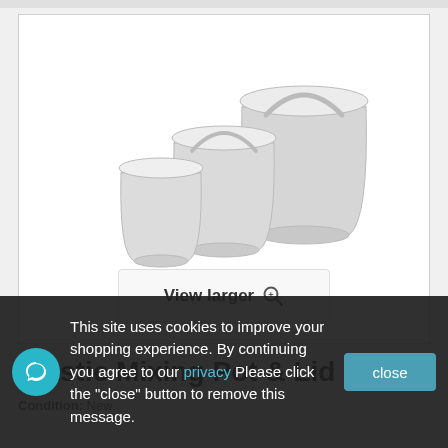[Figure (photo): Three white plastic mixing pots with lids in different sizes arranged together, with a 'View larger' button overlay at the bottom]
Plastic Mixing Pot & Lid 1lt
Condition: New
This site uses cookies to improve your shopping experience. By continuing you agree to our privacy Please click the "close" button to remove this message.